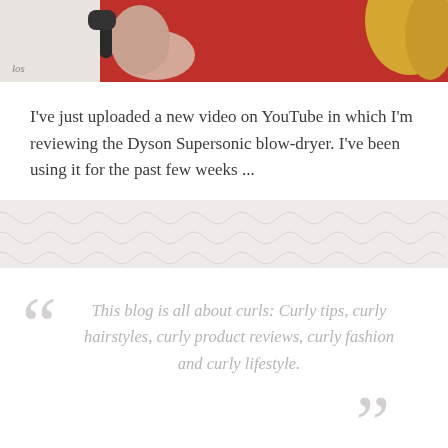[Figure (photo): Partial photo showing a person in a red long-sleeve top holding a Dyson Supersonic blow-dryer, cropped at the top of the page]
I've just uploaded a new video on YouTube in which I'm reviewing the Dyson Supersonic blow-dryer. I've been using it for the past few weeks ...
[Figure (illustration): Decorative wave/scallop pattern divider in light grey]
This blog is all about curls: Curly tips, curly hairstyles, curly product reviews, curly fashion and curly lifestyle.